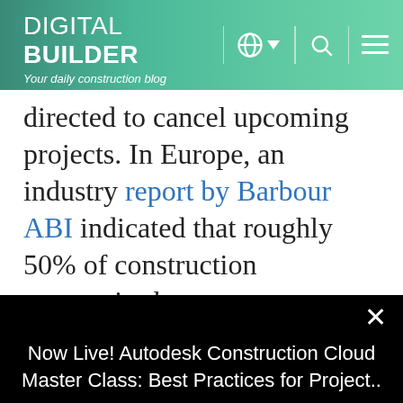DIGITAL BUILDER — Your daily construction blog
directed to cancel upcoming projects. In Europe, an industry report by Barbour ABI indicated that roughly 50% of construction companies have
Now Live! Autodesk Construction Cloud Master Class: Best Practices for Project..
Check it out here